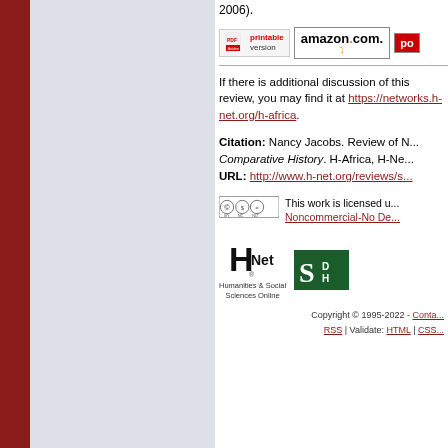2006).
[Figure (other): Row of buttons: PDF printable version, amazon.com, and a partially visible red button]
If there is additional discussion of this review, you may find it at https://networks.h-net.org/h-africa.
Citation: Nancy Jacobs. Review of N... Comparative History. H-Africa, H-Ne... URL: http://www.h-net.org/reviews/s...
[Figure (other): Creative Commons license badge (CC BY NC ND) with text: This work is licensed under a Noncommercial-No De...]
[Figure (logo): H-Net logo with text Humanities & Social Sciences Online and Michigan State logo]
Copyright © 1995-2022 - Conta... RSS | Validate: HTML | CSS...